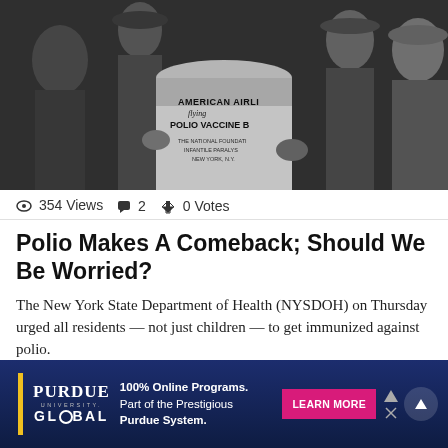[Figure (photo): Black and white historical photograph showing several people handling a large cylindrical container labeled 'American Airlines Flying Polio Vaccine Bank, The National Foundation for Infantile Paralysis, New York, N.Y.']
354 Views  2  0 Votes
Polio Makes A Comeback; Should We Be Worried?
The New York State Department of Health (NYSDOH) on Thursday urged all residents — not just children — to get immunized against polio.
12 days ago
[Figure (screenshot): Purdue University Global advertisement banner: '100% Online Programs. Part of the Prestigious Purdue System.' with a pink LEARN MORE button on a dark blue background.]